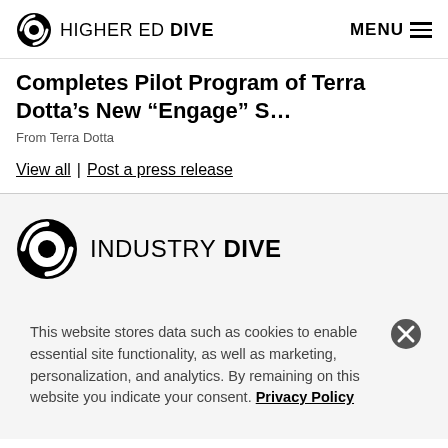HIGHER ED DIVE | MENU
Completes Pilot Program of Terra Dotta’s New “Engage” S…
From Terra Dotta
View all | Post a press release
[Figure (logo): Industry Dive logo with circular icon and bold text]
This website stores data such as cookies to enable essential site functionality, as well as marketing, personalization, and analytics. By remaining on this website you indicate your consent. Privacy Policy